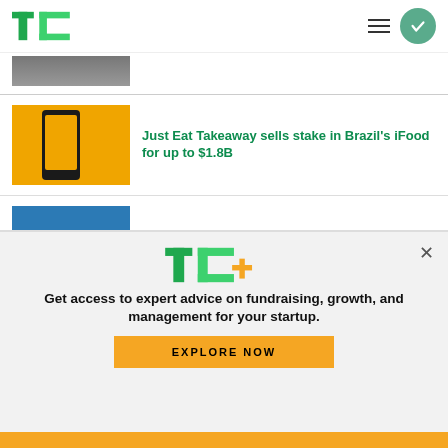TechCrunch
[Figure (photo): Person photo thumbnail, partially visible at top]
Just Eat Takeaway sells stake in Brazil's iFood for up to $1.8B
[Figure (photo): Just Eat Takeaway / iFood app on orange background]
There's still good news out there for software startups
[Figure (photo): Box branded pool table]
[Figure (logo): TC+ logo in green and yellow]
Get access to expert advice on fundraising, growth, and management for your startup.
EXPLORE NOW